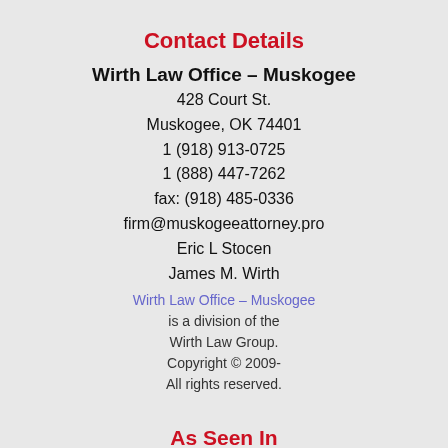Contact Details
Wirth Law Office – Muskogee
428 Court St.
Muskogee, OK 74401
1 (918) 913-0725
1 (888) 447-7262
fax: (918) 485-0336
firm@muskogeeattorney.pro
Eric L Stocen
James M. Wirth
Wirth Law Office – Muskogee is a division of the Wirth Law Group. Copyright © 2009- All rights reserved.
As Seen In
Time Magazine
[Figure (logo): TIME magazine logo in red serif font]